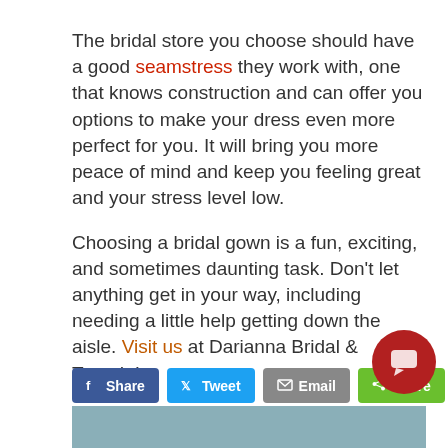The bridal store you choose should have a good seamstress they work with, one that knows construction and can offer you options to make your dress even more perfect for you. It will bring you more peace of mind and keep you feeling great and your stress level low.

Choosing a bridal gown is a fun, exciting, and sometimes daunting task. Don't let anything get in your way, including needing a little help getting down the aisle. Visit us at Darianna Bridal & Tuxedo!
[Figure (other): Social sharing buttons: Facebook Share, Tweet, Email, Share (green)]
[Figure (other): Red circular chat/message icon button in lower right]
[Figure (photo): Partial image visible at bottom of page, appears to be a gray/blue outdoor scene]